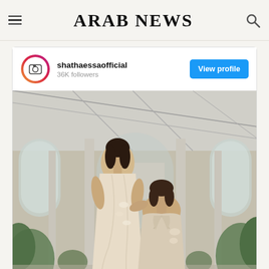ARAB NEWS
[Figure (screenshot): Instagram profile card for shathaessaofficial with 36K followers and a View profile button, followed by a fashion photo of two women in elegant dresses in a greenhouse setting]
shathaessaofficial
36K followers
View profile